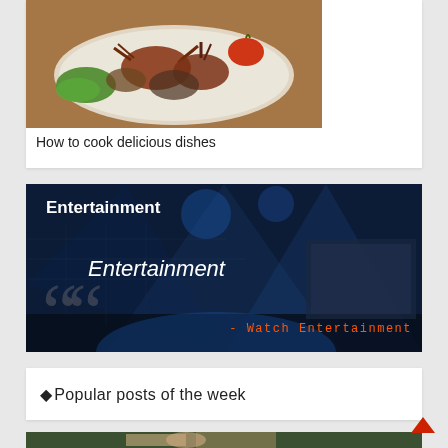[Figure (photo): Photo of cooked food dishes including what appears to be crabs and other seafood/meat dishes on a white plate with lettuce and tomatoes]
How to cook delicious dishes
[Figure (photo): Entertainment banner with dark background showing a concert/event scene with blue lighting. Shows the text 'Entertainment' as a label, italic 'Entertainment' text, large quotation marks, and '- Watch Entertainment' in orange monospace text]
Popular posts of the week
[Figure (photo): Partial photo at bottom showing a person's face with green foliage]